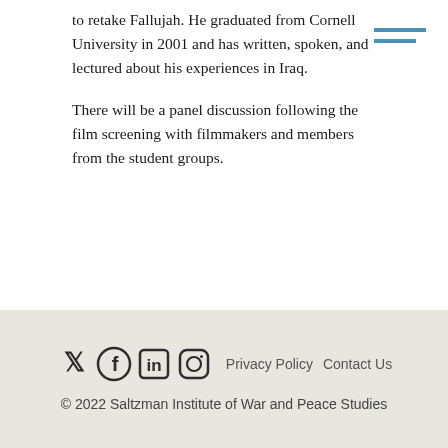to retake Fallujah. He graduated from Cornell University in 2001 and has written, spoken, and lectured about his experiences in Iraq.

There will be a panel discussion following the film screening with filmmakers and members from the student groups.
© 2022 Saltzman Institute of War and Peace Studies